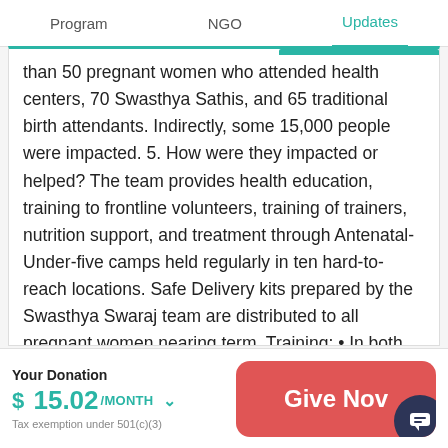Program   NGO   Updates
than 50 pregnant women who attended health centers, 70 Swasthya Sathis, and 65 traditional birth attendants. Indirectly, some 15,000 people were impacted. 5. How were they impacted or helped? The team provides health education, training to frontline volunteers, training of trainers, nutrition support, and treatment through Antenatal-Under-five camps held regularly in ten hard-to-reach locations. Safe Delivery kits prepared by the Swasthya Swaraj team are distributed to all pregnant women nearing term. Training: • In both the Kaniguma and Kerpai clusters, traditional birth attendants received one
Your Donation
$ 15.02/MONTH ∨
Tax exemption under 501(c)(3)